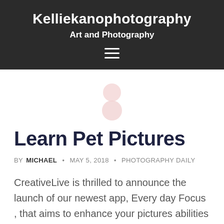Kelliekanophotography
Art and Photography
[Figure (illustration): Hamburger menu icon (three horizontal white lines) in dark header]
[Figure (illustration): Abstract figure icon made of two circles (pink/rose tones) representing a person/avatar]
Learn Pet Pictures
BY MICHAEL · MAY 5, 2018 · PHOTOGRAPHY DAILY
CreativeLive is thrilled to announce the launch of our newest app, Every day Focus , that aims to enhance your pictures abilities in lower than ten minutes a day. It's vital